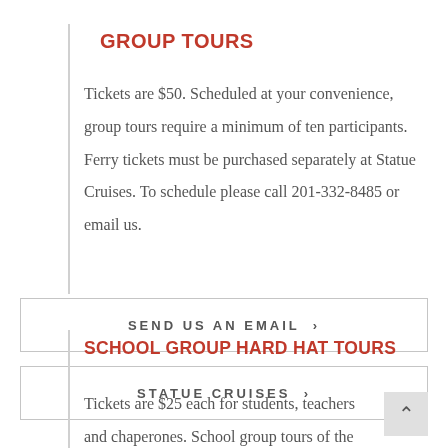GROUP TOURS
Tickets are $50. Scheduled at your convenience, group tours require a minimum of ten participants. Ferry tickets must be purchased separately at Statue Cruises. To schedule please call 201-332-8485 or email us.
SEND US AN EMAIL ›
STATUE CRUISES ›
SCHOOL GROUP HARD HAT TOURS
Tickets are $25 each for students, teachers and chaperones. School group tours of the abandoned